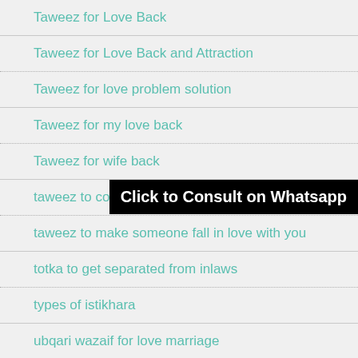Taweez for Love Back
Taweez for Love Back and Attraction
Taweez for love problem solution
Taweez for my love back
Taweez for wife back
taweez to control husband
taweez to make someone fall in love with you
totka to get separated from inlaws
types of istikhara
ubqari wazaif for love marriage